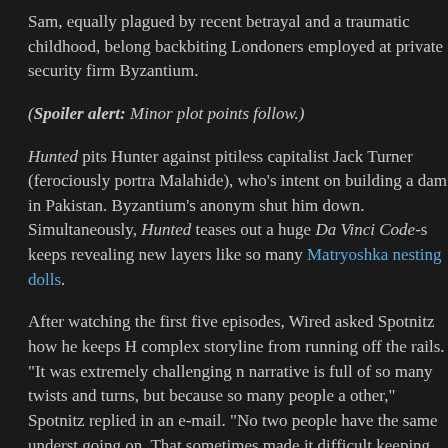Sam, equally plagued by recent betrayal and a traumatic childhood, belong backbiting Londoners employed at private security firm Byzantium.
(Spoiler alert: Minor plot points follow.)
Hunted pits Hunter against pitiless capitalist Jack Turner (ferociously portra Malahide), who's intent on building a dam in Pakistan. Byzantium's anonym shut him down. Simultaneously, Hunted teases out a huge Da Vinci Code-s keeps revealing new layers like so many Matryoshka nesting dolls.
After watching the first five episodes, Wired asked Spotnitz how he keeps H complex storyline from running off the rails. "It was extremely challenging n narrative is full of so many twists and turns, but because so many people a other," Spotnitz replied in an e-mail. "No two people have the same underst going on. That sometimes made it difficult keeping track of who knew what. pleased with the way it all came together in the end."
Hunted's intertwined storylines include a "we've got a mole" subplot, but the gains fresh dimension here because the very notion of a heroic purpose ap in action.
"In a traditional spy story, we assume our spies are the good guys," said Sp